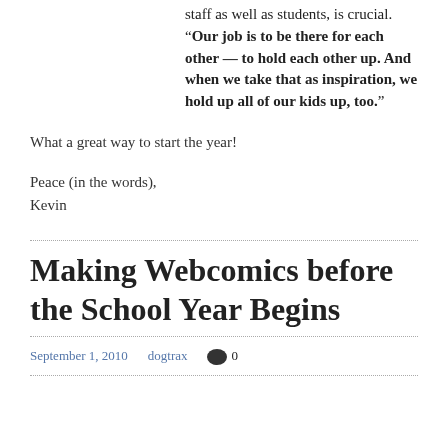staff as well as students, is crucial. “Our job is to be there for each other — to hold each other up. And when we take that as inspiration, we hold up all of our kids up, too.”
What a great way to start the year!
Peace (in the words),
Kevin
Making Webcomics before the School Year Begins
September 1, 2010   dogtrax   0